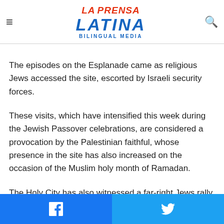La Prensa Latina Bilingual Media
Some threw stones and Molotov cocktails from the esplanade, according to the Israeli foreign ministry.
The episodes on the Esplanade came as religious Jews accessed the site, escorted by Israeli security forces.
These visits, which have intensified this week during the Jewish Passover celebrations, are considered a provocation by the Palestinian faithful, whose presence in the site has also increased on the occasion of the Muslim holy month of Ramadan.
The Holy City has also witnessed a far-right Jews rally claiming revenge for the Palestinian attacks that killed 14
Facebook share | Twitter share